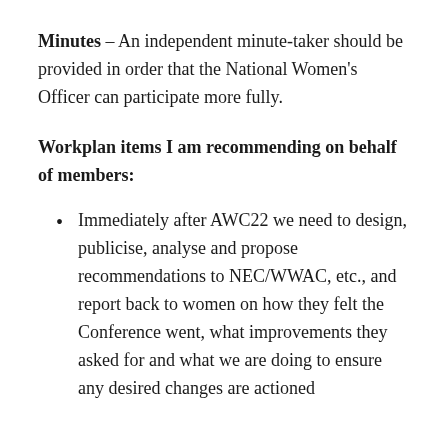Minutes – An independent minute-taker should be provided in order that the National Women's Officer can participate more fully.
Workplan items I am recommending on behalf of members:
Immediately after AWC22 we need to design, publicise, analyse and propose recommendations to NEC/WWAC, etc., and report back to women on how they felt the Conference went, what improvements they asked for and what we are doing to ensure any desired changes are actioned